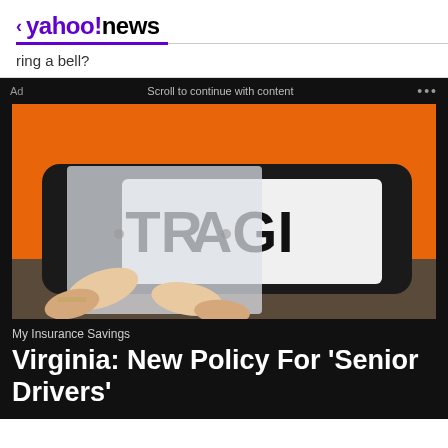< yahoo!news
ring a bell?
Ad   Scroll to continue with content   ...
[Figure (photo): Person holding a clear/frosted license plate cover over an orange vehicle's license plate showing partial text 'TR AGI']
My Insurance Savings
Virginia: New Policy For 'Senior Drivers'